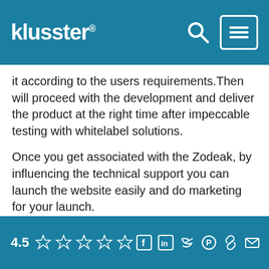klusster®
it according to the users requirements.Then will proceed with the development and deliver the product at the right time after impeccable testing with whitelabel solutions.
Once you get associated with the Zodeak, by influencing the technical support you can launch the website easily and do marketing for your launch.
Revenue Model
Here you can introduce the subscription plan and charge for the transactions
Also can charge a percentage of transaction money
4.5 ☆☆☆☆☆